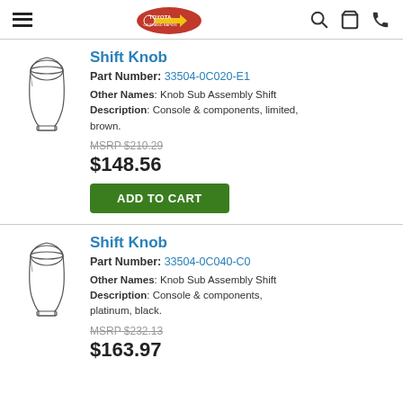Toyota Parts Store - navigation header with menu, logo, search, cart, phone icons
Shift Knob
Part Number: 33504-0C020-E1
Other Names: Knob Sub Assembly Shift
Description: Console & components, limited, brown.
MSRP $210.29
$148.56
ADD TO CART
Shift Knob
Part Number: 33504-0C040-C0
Other Names: Knob Sub Assembly Shift
Description: Console & components, platinum, black.
MSRP $232.13
$163.97